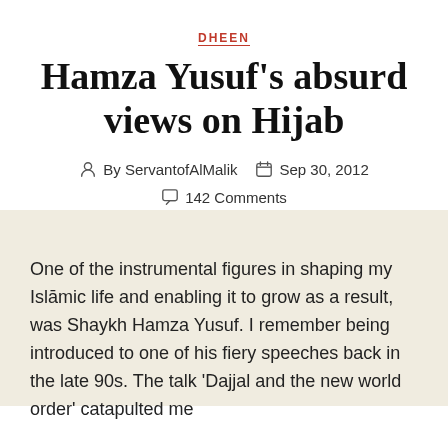DHEEN
Hamza Yusuf's absurd views on Hijab
By ServantofAlMalik   Sep 30, 2012   142 Comments
One of the instrumental figures in shaping my Islāmic life and enabling it to grow as a result, was Shaykh Hamza Yusuf. I remember being introduced to one of his fiery speeches back in the late 90s. The talk 'Dajjal and the new world order' catapulted me